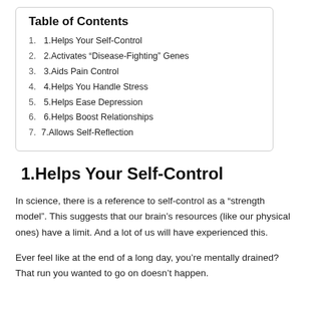Table of Contents
1. 1.Helps Your Self-Control
2. 2.Activates “Disease-Fighting” Genes
3. 3.Aids Pain Control
4. 4.Helps You Handle Stress
5. 5.Helps Ease Depression
6. 6.Helps Boost Relationships
7. 7.Allows Self-Reflection
1.Helps Your Self-Control
In science, there is a reference to self-control as a “strength model”. This suggests that our brain’s resources (like our physical ones) have a limit. And a lot of us will have experienced this.
Ever feel like at the end of a long day, you’re mentally drained? That run you wanted to go on doesn’t happen.